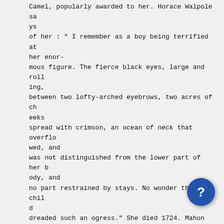Camel, popularly awarded to her. Horace Walpole says of her : " I remember as a boy being terrified at her enormous figure. The fierce black eyes, large and rolling, between two lofty-arched eyebrows, two acres of cheeks spread with crimson, an ocean of neck that overflowed, and was not distinguished from the lower part of her body, and no part restrained by stays. No wonder that a child dreaded such an ogress." She died 1724. Mahon says: " She was unwieldy in person, and rapacious in character."

Phillimore declares that "George I. brought with him from Hanover mistresses as rapacious, and satellites as ignoble, as those which drew down such deserved loquy.